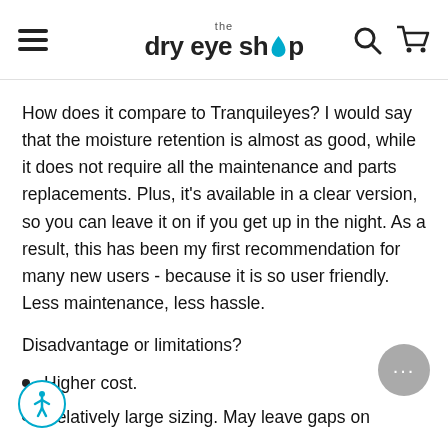the dry eye shop
How does it compare to Tranquileyes? I would say that the moisture retention is almost as good, while it does not require all the maintenance and parts replacements. Plus, it's available in a clear version, so you can leave it on if you get up in the night. As a result, this has been my first recommendation for many new users - because it is so user friendly. Less maintenance, less hassle.
Disadvantage or limitations?
Higher cost.
Relatively large sizing. May leave gaps on